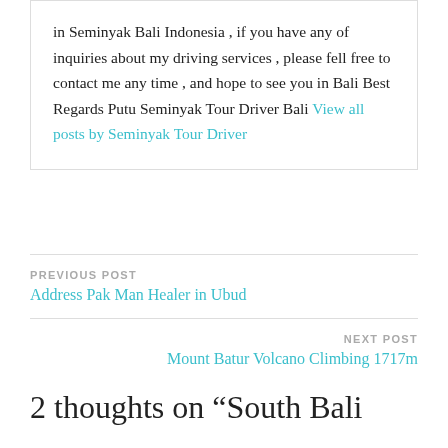in Seminyak Bali Indonesia , if you have any of inquiries about my driving services , please fell free to contact me any time , and hope to see you in Bali Best Regards Putu Seminyak Tour Driver Bali View all posts by Seminyak Tour Driver
PREVIOUS POST
Address Pak Man Healer in Ubud
NEXT POST
Mount Batur Volcano Climbing 1717m
2 thoughts on “South Bali